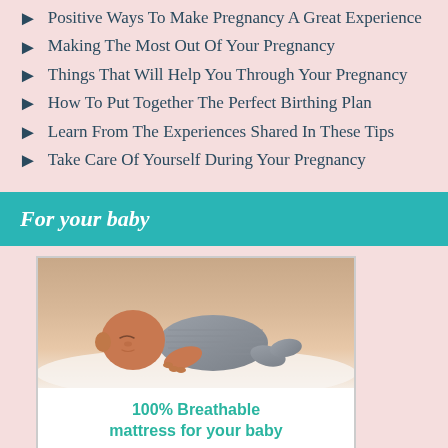Positive Ways To Make Pregnancy A Great Experience
Making The Most Out Of Your Pregnancy
Things That Will Help You Through Your Pregnancy
How To Put Together The Perfect Birthing Plan
Learn From The Experiences Shared In These Tips
Take Care Of Yourself During Your Pregnancy
For your baby
[Figure (infographic): Advertisement for Newton Baby showing a sleeping baby on a mattress with text '100% Breathable mattress for your baby' and the Newton baby logo]